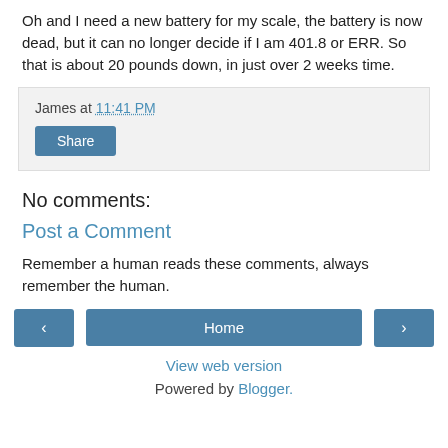Oh and I need a new battery for my scale, the battery is now dead, but it can no longer decide if I am 401.8 or ERR. So that is about 20 pounds down, in just over 2 weeks time.
James at 11:41 PM  [Share button]
No comments:
Post a Comment
Remember a human reads these comments, always remember the human.
[ < ]  [ Home ]  [ > ]
View web version
Powered by Blogger.